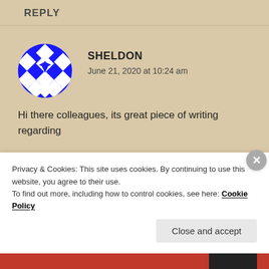REPLY
SHELDON
June 21, 2020 at 10:24 am
Hi there colleagues, its great piece of writing regarding
Privacy & Cookies: This site uses cookies. By continuing to use this website, you agree to their use.
To find out more, including how to control cookies, see here: Cookie Policy
Close and accept